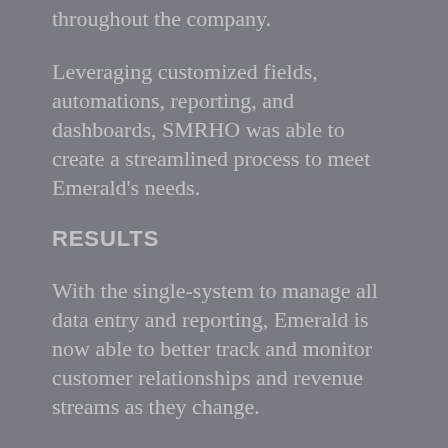throughout the company.
Leveraging customized fields, automations, reporting, and dashboards, SMRHO was able to create a streamlined process to meet Emerald's needs.
RESULTS
With the single-system to manage all data entry and reporting, Emerald is now able to better track and monitor customer relationships and revenue streams as they change.
Emerald has streamlined the process of data entry, created a central repository for this information, and gained access to reporting on key KPIs they previously were not reporting.
Download the Emerald Transformer Case Study